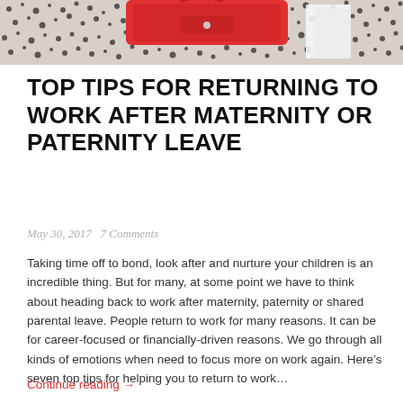[Figure (photo): Top portion of a photo showing a red handbag/purse on a black and white patterned fabric background]
TOP TIPS FOR RETURNING TO WORK AFTER MATERNITY OR PATERNITY LEAVE
May 30, 2017   7 Comments
Taking time off to bond, look after and nurture your children is an incredible thing. But for many, at some point we have to think about heading back to work after maternity, paternity or shared parental leave. People return to work for many reasons. It can be for career-focused or financially-driven reasons. We go through all kinds of emotions when need to focus more on work again. Here's seven top tips for helping you to return to work…
Continue reading →